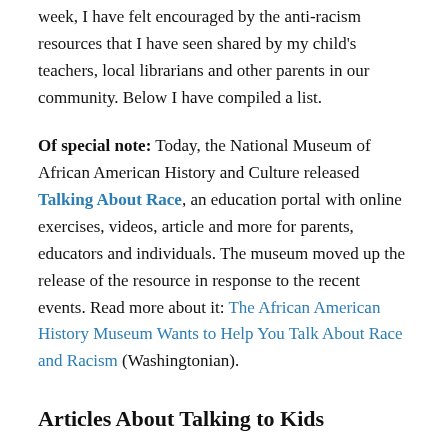week, I have felt encouraged by the anti-racism resources that I have seen shared by my child's teachers, local librarians and other parents in our community. Below I have compiled a list.
Of special note: Today, the National Museum of African American History and Culture released Talking About Race, an education portal with online exercises, videos, article and more for parents, educators and individuals. The museum moved up the release of the resource in response to the recent events. Read more about it: The African American History Museum Wants to Help You Talk About Race and Racism (Washingtonian).
Articles About Talking to Kids